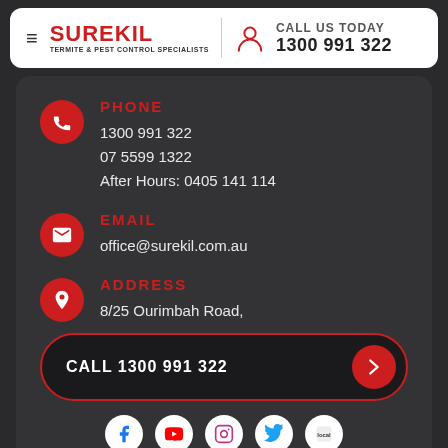SUREKIL TERMITE & PEST CONTROL SPECIALISTS | CALL US TODAY 1300 991 322
PHONE
1300 991 322
07 5599 1322
After Hours: 0405 141 114
EMAIL
office@surekil.com.au
ADDRESS
8/25 Ourimbah Road,
CALL 1300 991 322